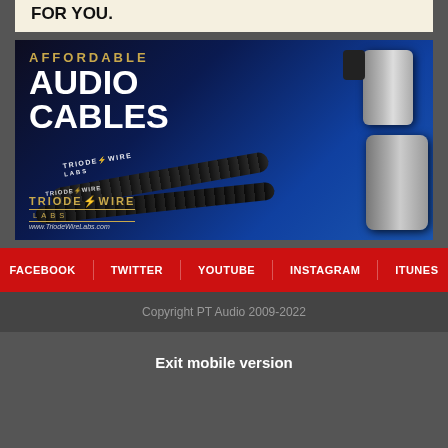FOR YOU.
[Figure (illustration): Triode Wire Labs advertisement showing audio cables with metallic connectors on a dark blue background. Text reads: AFFORDABLE AUDIO CABLES. Triode Wire Labs logo and website www.TriodeWireLabs.com shown at bottom.]
FACEBOOK   TWITTER   YOUTUBE   INSTAGRAM   ITUNES
Copyright PT Audio 2009-2022
Exit mobile version